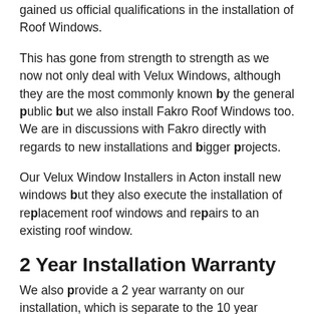gained us official qualifications in the installation of Roof Windows.
This has gone from strength to strength as we now not only deal with Velux Windows, although they are the most commonly known by the general public but we also install Fakro Roof Windows too. We are in discussions with Fakro directly with regards to new installations and bigger projects.
Our Velux Window Installers in Acton install new windows but they also execute the installation of replacement roof windows and repairs to an existing roof window.
2 Year Installation Warranty
We also provide a 2 year warranty on our installation, which is separate to the 10 year